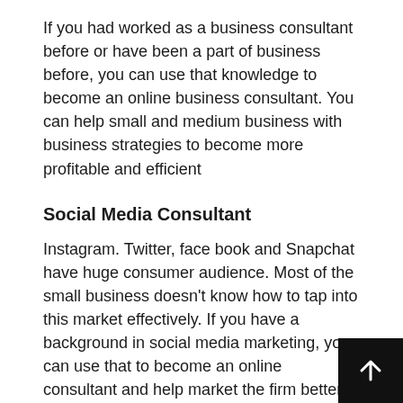If you had worked as a business consultant before or have been a part of business before, you can use that knowledge to become an online business consultant. You can help small and medium business with business strategies to become more profitable and efficient
Social Media Consultant
Instagram. Twitter, face book and Snapchat have huge consumer audience. Most of the small business doesn't know how to tap into this market effectively. If you have a background in social media marketing, you can use that to become an online consultant and help market the firm better.
Web developer
If you are interested in the coding side of building websites then you can collaborate with some web